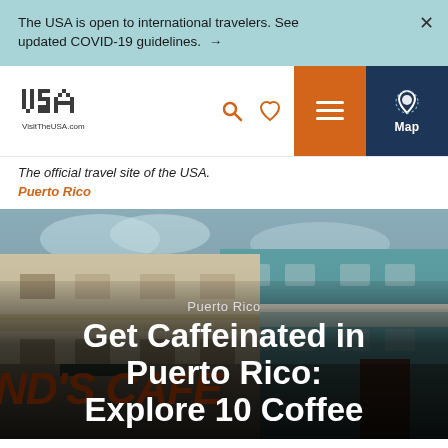The USA is open to international travelers. See updated COVID-19 guidelines. →
[Figure (screenshot): VisitTheUSA.com website navigation bar with logo, search icon, heart icon, hamburger menu button (orange), and Map button (dark blue)]
The official travel site of the USA.
Puerto Rico
[Figure (photo): Street scene in Puerto Rico showing colorful colonial buildings (blue and white) with balconies, a cafe sign reading ND'S CAFE in the foreground, cloudy sky]
Puerto Rico
Get Caffeinated in Puerto Rico: Explore 10 Coffee